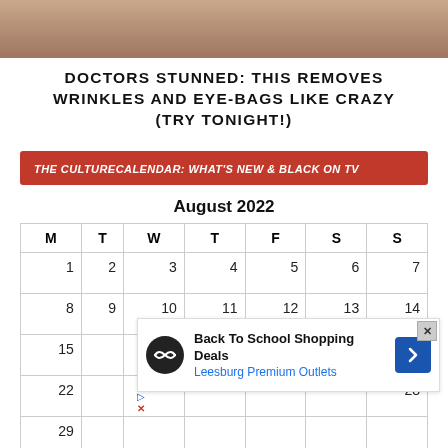[Figure (photo): Close-up photo of aging skin showing wrinkles and eye area]
DOCTORS STUNNED: THIS REMOVES WRINKLES AND EYE-BAGS LIKE CRAZY (TRY TONIGHT!)
THE CULTURECALENDAR: WHAT'S NEW & BLACK ON TV
August 2022
| M | T | W | T | F | S | S |
| --- | --- | --- | --- | --- | --- | --- |
| 1 | 2 | 3 | 4 | 5 | 6 | 7 |
| 8 | 9 | 10 | 11 | 12 | 13 | 14 |
| 15 |  |  |  |  |  | 21 |
| 22 |  |  |  |  |  | 28 |
| 29 |  |  |  |  |  |  |
[Figure (screenshot): Advertisement overlay: Back To School Shopping Deals - Leesburg Premium Outlets]